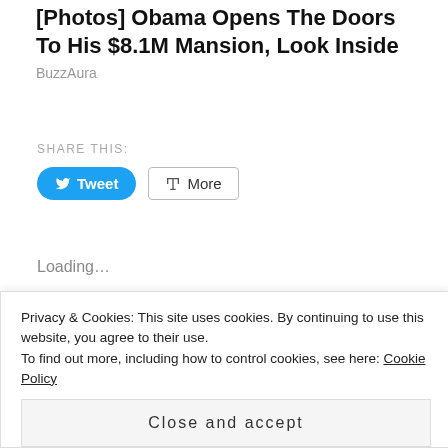[Photos] Obama Opens The Doors To His $8.1M Mansion, Look Inside
BuzzAura
SHARE THIS:
Loading...
RELATED
[Figure (photo): Partial image visible at top of related section]
Privacy & Cookies: This site uses cookies. By continuing to use this website, you agree to their use.
To find out more, including how to control cookies, see here: Cookie Policy
Close and accept